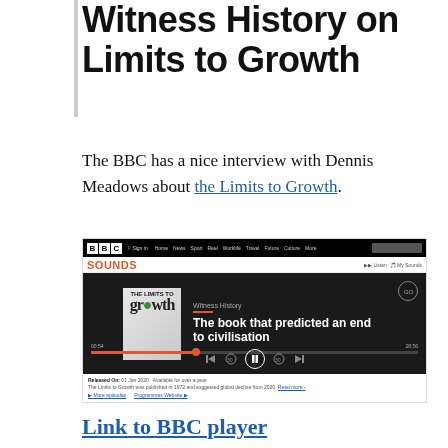Witness History on Limits to Growth
The BBC has a nice interview with Dennis Meadows about the Limits to Growth.
[Figure (screenshot): BBC Sounds screenshot showing a player for 'Witness History: The book that predicted an end to civilisation', with album art for 'The Limits to Growth', a progress bar, playback controls, and metadata including Released On: 01 Jan 2020, available for over a year.]
Link to BBC player